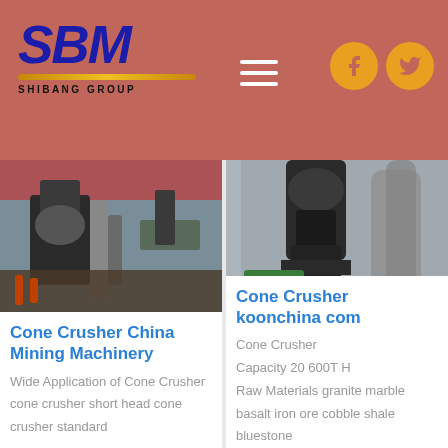[Figure (logo): SBM Shibang Group logo with blue italic text and gold underline on dusty rose background]
[Figure (photo): Industrial cone crusher machinery in a factory setting with red overhead crane and piping]
[Figure (photo): Industrial cone crusher equipment with large cylindrical body and green machinery components]
Cone Crusher China Mining Machinery
Wide Application of Cone Crusher cone crusher short head cone crusher standard
Cone Crusher koonchina com
Cone Crusher
Capacity 20 600T H
Raw Materials granite marble basalt iron ore cobble shale bluestone